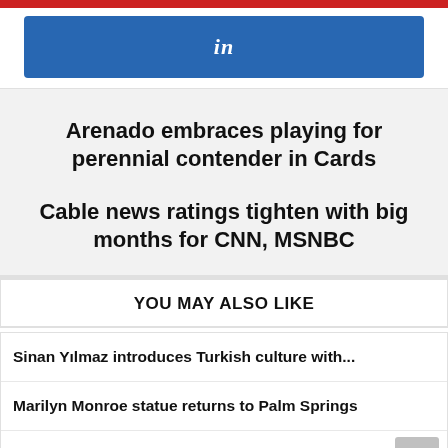[Figure (other): Red horizontal bar at top of page]
[Figure (other): LinkedIn blue button with 'in' icon]
Arenado embraces playing for perennial contender in Cards
Cable news ratings tighten with big months for CNN, MSNBC
YOU MAY ALSO LIKE
Sinan Yılmaz introduces Turkish culture with...
Marilyn Monroe statue returns to Palm Springs
A glorious, picturesque road trip through